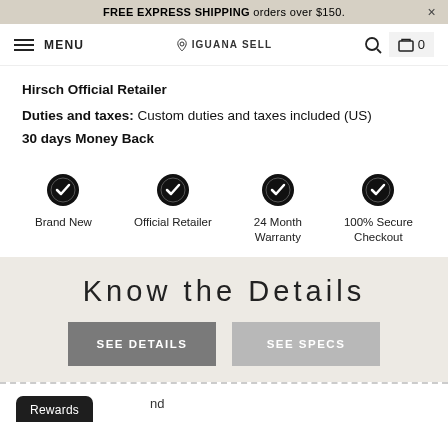FREE EXPRESS SHIPPING orders over $150.
MENU | IGUANA SELL | 🔍 | 🛒 0
Hirsch Official Retailer
Duties and taxes: Custom duties and taxes included (US)
30 days Money Back
[Figure (infographic): Four circular badge icons with checkmarks labeled: Brand New, Official Retailer, 24 Month Warranty, 100% Secure Checkout]
Know the Details
SEE DETAILS | SEE SPECS
Rewards  nd